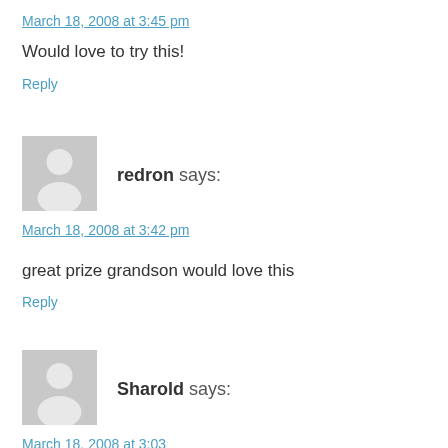March 18, 2008 at 3:45 pm
Would love to try this!
Reply
[Figure (illustration): Gray placeholder avatar silhouette for user redron]
redron says:
March 18, 2008 at 3:42 pm
great prize grandson would love this
Reply
[Figure (illustration): Gray placeholder avatar silhouette for user Sharold]
Sharold says:
March 18, 2008 at 3:03